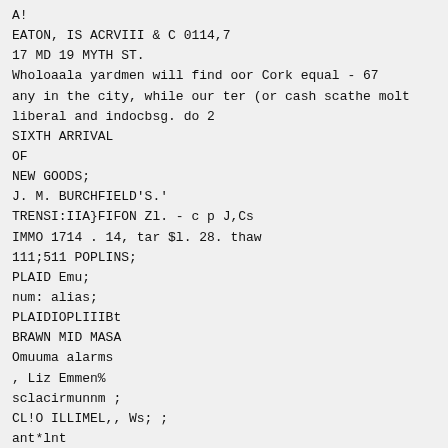A!
EATON, IS ACRVIII & C 0114,7
17 MD 19 MYTH ST.
Wholoaala yardmen will find oor Cork equal - 67
any in the city, while our ter (or cash scathe molt
liberal and indocbsg. do 2
SIXTH ARRIVAL
OF
NEW GOODS;
J. M. BURCHFIELD'S.'
TRENSI:IIA}FIFON Zl. - c p J,Cs
IMMO 1714 . 14, tar $l. 28. thaw
111;511 POPLINS;
PLAID Emu;
num: alias;
PLAIDIOPLIIIBt
BRAWN MID MASA
Omuuma alarms
, Liz Emmen%
sclacirmunnm ;
CL!O ILLIMEL,, Ws; ;
ant*lnt
A tan ' 144411, 44/trieffii4Olki: eldlll,
N. it. 'Sr. PoirLh sadliorkat It&